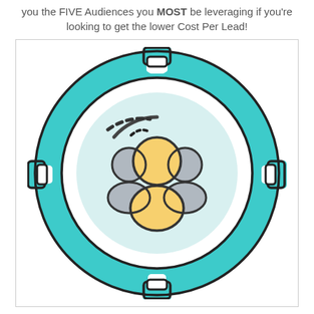you the FIVE Audiences you MOST be leveraging if you're looking to get the lower Cost Per Lead!
[Figure (illustration): A circular puzzle-piece target icon with a teal/turquoise ring made of four puzzle pieces, containing a light blue inner circle with a group of people icons (one yellow person in the center, two gray people on the sides), with a dashed arc in the upper-left quadrant of the inner circle. Black outlines throughout.]